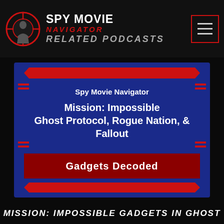SPY MOVIE NAVIGATOR RELATED PODCASTS
[Figure (logo): Spy Movie Navigator logo with crosshair circle containing silhouette of a spy, red and white text, hamburger menu icon]
Spy Movie Navigator
Mission: Impossible
Ghost Protocol, Rogue Nation, & Fallout
Gadgets Decoded
MISSION: IMPOSSIBLE GADGETS IN GHOST